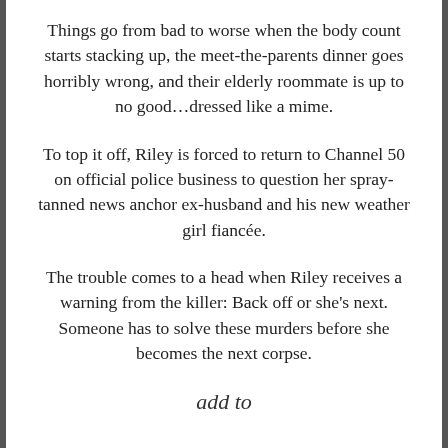Things go from bad to worse when the body count starts stacking up, the meet-the-parents dinner goes horribly wrong, and their elderly roommate is up to no good…dressed like a mime.
To top it off, Riley is forced to return to Channel 50 on official police business to question her spray-tanned news anchor ex-husband and his new weather girl fiancée.
The trouble comes to a head when Riley receives a warning from the killer: Back off or she's next. Someone has to solve these murders before she becomes the next corpse.
add to